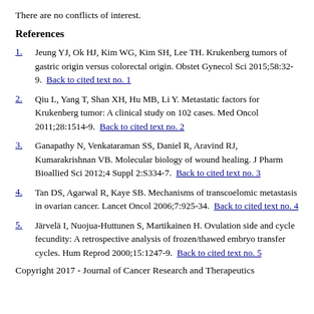There are no conflicts of interest.
References
1. Jeung YJ, Ok HJ, Kim WG, Kim SH, Lee TH. Krukenberg tumors of gastric origin versus colorectal origin. Obstet Gynecol Sci 2015;58:32-9. Back to cited text no. 1
2. Qiu L, Yang T, Shan XH, Hu MB, Li Y. Metastatic factors for Krukenberg tumor: A clinical study on 102 cases. Med Oncol 2011;28:1514-9. Back to cited text no. 2
3. Ganapathy N, Venkataraman SS, Daniel R, Aravind RJ, Kumarakrishnan VB. Molecular biology of wound healing. J Pharm Bioallied Sci 2012;4 Suppl 2:S334-7. Back to cited text no. 3
4. Tan DS, Agarwal R, Kaye SB. Mechanisms of transcoelomic metastasis in ovarian cancer. Lancet Oncol 2006;7:925-34. Back to cited text no. 4
5. Järvelä I, Nuojua-Huttunen S, Martikainen H. Ovulation side and cycle fecundity: A retrospective analysis of frozen/thawed embryo transfer cycles. Hum Reprod 2000;15:1247-9. Back to cited text no. 5
Copyright 2017 - Journal of Cancer Research and Therapeutics